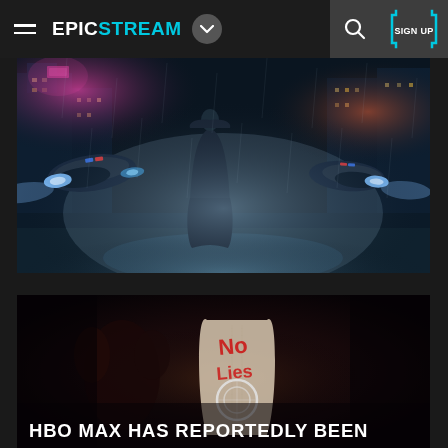EPICSTREAM
[Figure (screenshot): Blade Runner-style sci-fi cityscape at night with flying vehicles and a lone figure standing in fog-filled rainy street with neon lights]
[Figure (screenshot): Dark promotional image with a figure in a white jacket with red markings and a circular emblem, overlaid with text 'HBO MAX HAS REPORTEDLY BEEN']